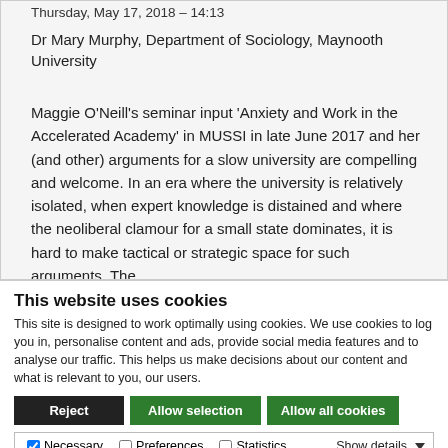Thursday, May 17, 2018 – 14:13
Dr Mary Murphy, Department of Sociology, Maynooth University
Maggie O'Neill's seminar input 'Anxiety and Work in the Accelerated Academy' in MUSSI in late June 2017 and her (and other) arguments for a slow university are compelling and welcome. In an era where the university is relatively isolated, when expert knowledge is distained and where the neoliberal clamour for a small state dominates, it is hard to make tactical or strategic space for such arguments. The
This website uses cookies
This site is designed to work optimally using cookies. We use cookies to log you in, personalise content and ads, provide social media features and to analyse our traffic. This helps us make decisions about our content and what is relevant to you, our users.
Reject | Allow selection | Allow all cookies
Necessary | Preferences | Statistics | Marketing | Show details